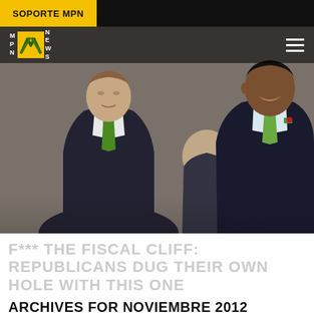SOPORTE MPN
[Figure (logo): MPN News logo with yellow/orange graphic icon]
[Figure (photo): Two men in dark suits with green ties, appearing to be politicians, one smiling, photographed outdoors]
F*** THE FISCAL CLIFF: REPUBLICANS DUG THEIR OWN HOLE WITH THIS ONE
ARCHIVES FOR NOVIEMBRE 2012